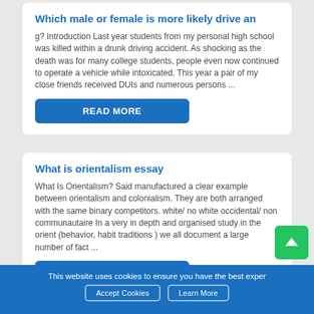Which male or female is more likely drive an
g? Introduction Last year students from my personal high school was killed within a drunk driving accident. As shocking as the death was for many college students, people even now continued to operate a vehicle while intoxicated. This year a pair of my close friends received DUIs and numerous persons ...
What is orientalism essay
What Is Orientalism? Said manufactured a clear example between orientalism and colonialism. They are both arranged with the same binary competitors. white/ no white occidental/ non communautaire In a very in depth and organised study in the orient (behavior, habit traditions ) we all document a large number of fact ...
This website uses cookies to ensure you have the best exper